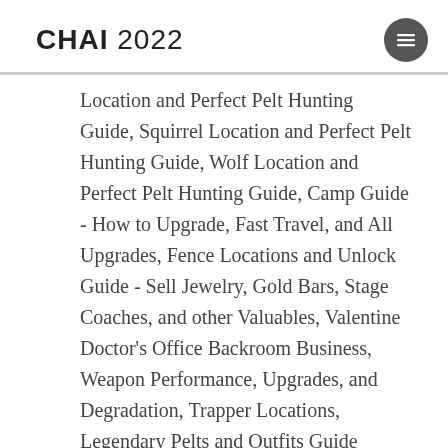CHAI 2022
Location and Perfect Pelt Hunting Guide, Squirrel Location and Perfect Pelt Hunting Guide, Wolf Location and Perfect Pelt Hunting Guide, Camp Guide - How to Upgrade, Fast Travel, and All Upgrades, Fence Locations and Unlock Guide - Sell Jewelry, Gold Bars, Stage Coaches, and other Valuables, Valentine Doctor's Office Backroom Business, Weapon Performance, Upgrades, and Degradation, Trapper Locations, Legendary Pelts and Outfits Guide (Where to Sell Legendary Bear Pelt), Legendary Animals and Fish Locations and Map, How to Kill Legendary Animals and Legendary Animal Locations, Legendary Alligator Location, Skin, and Kill Guide, Legendary Beaver Location, Skin, and Kill Guide, Legendary Boar Location, Skin, and Kill Guide, Legendary Buck Location, Skin, and Kill Guide, Legendary Cougar Location, Skin, and Kill Guide, Legendary Coyote Location, Skin, and Kill Guide, Legendary Elk Location,